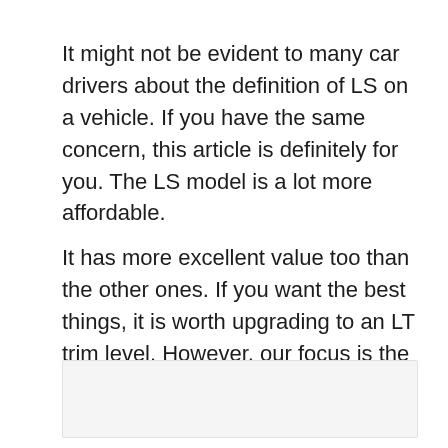It might not be evident to many car drivers about the definition of LS on a vehicle. If you have the same concern, this article is definitely for you. The LS model is a lot more affordable.
It has more excellent value too than the other ones. If you want the best things, it is worth upgrading to an LT trim level. However, our focus is the definition of LS in your vehicle.
[Figure (photo): A light gray rectangular image placeholder area at the bottom of the page.]